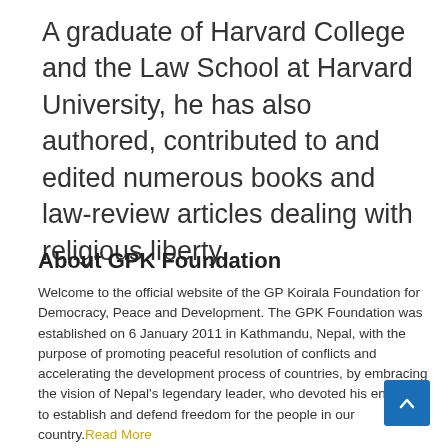A graduate of Harvard College and the Law School at Harvard University, he has also authored, contributed to and edited numerous books and law-review articles dealing with religious liberty.
About GPK Foundation
Welcome to the official website of the GP Koirala Foundation for Democracy, Peace and Development. The GPK Foundation was established on 6 January 2011 in Kathmandu, Nepal, with the purpose of promoting peaceful resolution of conflicts and accelerating the development process of countries, by embracing the vision of Nepal's legendary leader, who devoted his entire life to establish and defend freedom for the people in our country. Read More